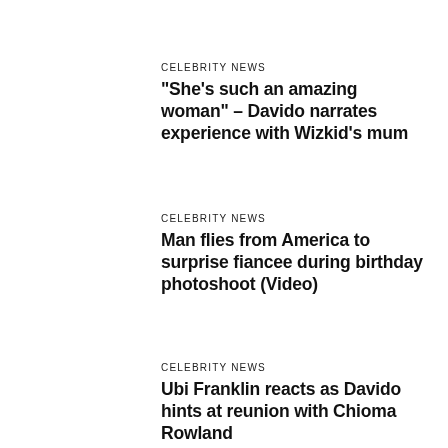CELEBRITY NEWS
“She’s such an amazing woman” – Davido narrates experience with Wizkid’s mum
CELEBRITY NEWS
Man flies from America to surprise fiancee during birthday photoshoot (Video)
CELEBRITY NEWS
Ubi Franklin reacts as Davido hints at reunion with Chioma Rowland